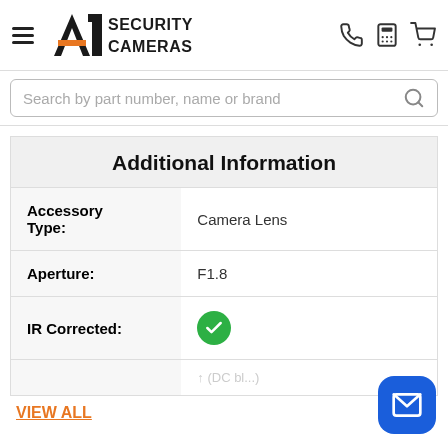[Figure (logo): A1 Security Cameras logo with hamburger menu and navigation icons (phone, calculator, cart)]
[Figure (screenshot): Search bar with placeholder text: Search by part number, name or brand]
Additional Information
|  |  |
| --- | --- |
| Accessory Type: | Camera Lens |
| Aperture: | F1.8 |
| IR Corrected: | ✓ |
VIEW ALL